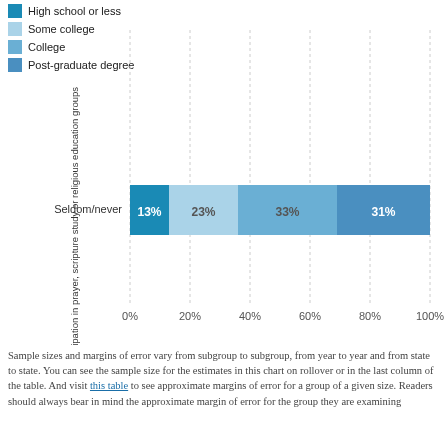[Figure (stacked-bar-chart): Seldom/never participation in prayer, scripture study or religious education groups by education]
Sample sizes and margins of error vary from subgroup to subgroup, from year to year and from state to state. You can see the sample size for the estimates in this chart on rollover or in the last column of the table. And visit this table to see approximate margins of error for a group of a given size. Readers should always bear in mind the approximate margin of error for the group they are examining